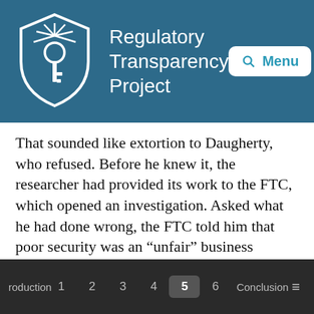Regulatory Transparency Project
That sounded like extortion to Daugherty, who refused. Before he knew it, the researcher had provided its work to the FTC, which opened an investigation. Asked what he had done wrong, the FTC told him that poor security was an “unfair” business practice, even though he was compliant to the government’s security standards for health care providers, even though the FTC had never publicized any guidance suggested his firm’s security standards were problematic, even though his company was the victim of the security breach, and even though there was no evidence that any of Daugherty’s patients had
roduction  1  2  3  4  5  6  Conclusion